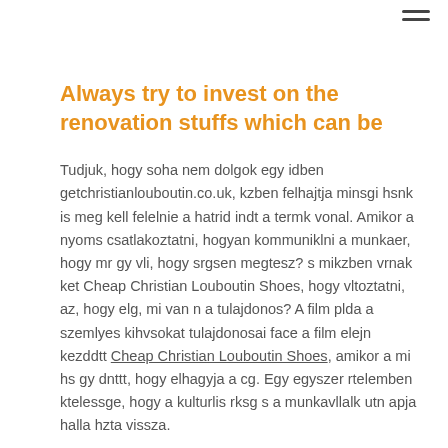Always try to invest on the renovation stuffs which can be
Tudjuk, hogy soha nem dolgok egy idben getchristianlouboutin.co.uk, kzben felhajtja minsgi hsnk is meg kell felelnie a hatrid indt a termk vonal. Amikor a nyoms csatlakoztatni, hogyan kommuniklni a munkaer, hogy mr gy vli, hogy srgsen megtesz? s mikzben vrnak ket Cheap Christian Louboutin Shoes, hogy vltoztatni, az, hogy elg, mi van n a tulajdonos? A film plda a szemlyes kihvsokat tulajdonosai face a film elejn kezddtt Cheap Christian Louboutin Shoes, amikor a mi hs gy dnttt, hogy elhagyja a cg. Egy egyszer rtelemben ktelessge, hogy a kulturlis rksg s a munkavllalk utn apja halla hzta vissza.
christian louboutin uk Each location will have their